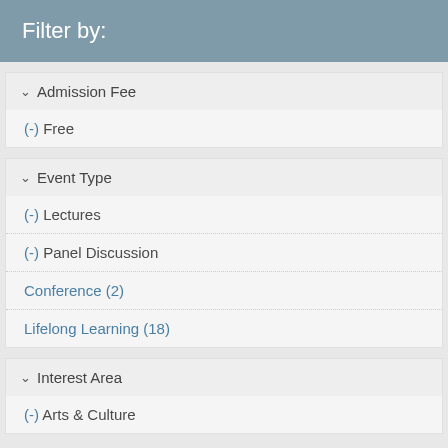Filter by:
Admission Fee
(-) Free
Event Type
(-) Lectures
(-) Panel Discussion
Conference (2)
Lifelong Learning (18)
Interest Area
(-) Arts & Culture